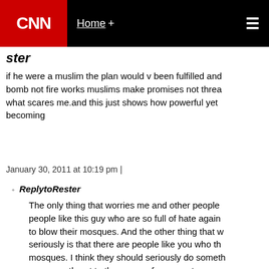CNN | Home +
ster
if he were a muslim the plan would v been fulfilled and bomb not fire works muslims make promises not threa what scares me.and this just shows how powerful yet becoming
January 30, 2011 at 10:19 pm |
ReplytoRester
The only thing that worries me and other people people like this guy who are so full of hate again to blow their mosques. And the other thing that w seriously is that there are people like you who th mosques. I think they should seriously do someth you are a threat to the peace of our country.
January 30, 2011 at 10:39 pm |
12. rbags
What? no "firework control" comments? Atloast be co